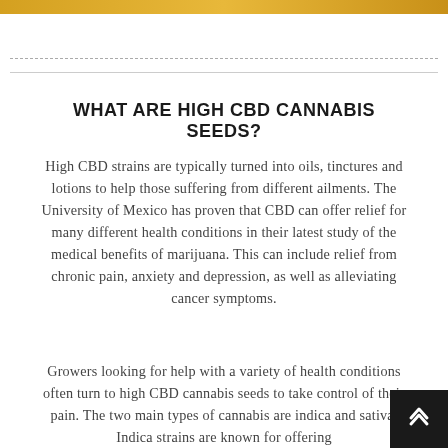[Figure (illustration): Golden/amber colored decorative banner at the top of the page]
WHAT ARE HIGH CBD CANNABIS SEEDS?
High CBD strains are typically turned into oils, tinctures and lotions to help those suffering from different ailments. The University of Mexico has proven that CBD can offer relief for many different health conditions in their latest study of the medical benefits of marijuana. This can include relief from chronic pain, anxiety and depression, as well as alleviating cancer symptoms.
Growers looking for help with a variety of health conditions often turn to high CBD cannabis seeds to take control of their pain. The two main types of cannabis are indica and sativa. Indica strains are known for offering